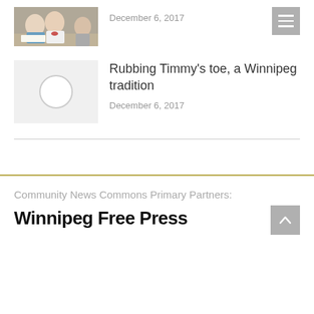[Figure (photo): Two people seated at a table, smiling, one wearing a blue shirt and one wearing a white vest with a red necklace]
December 6, 2017
[Figure (illustration): Gray placeholder thumbnail with a circular spinner/loading icon]
Rubbing Timmy’s toe, a Winnipeg tradition
December 6, 2017
Community News Commons Primary Partners:
Winnipeg Free Press